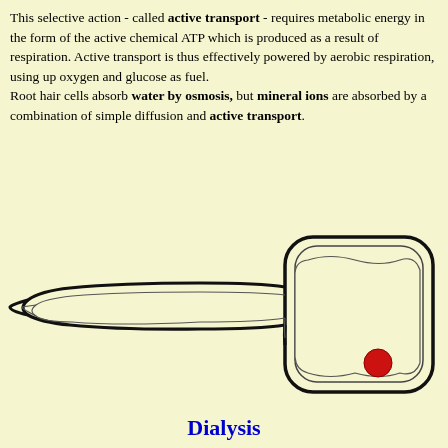This selective action - called active transport - requires metabolic energy in the form of the active chemical ATP which is produced as a result of respiration. Active transport is thus effectively powered by aerobic respiration, using up oxygen and glucose as fuel. Root hair cells absorb water by osmosis, but mineral ions are absorbed by a combination of simple diffusion and active transport.
[Figure (illustration): Diagram of a root hair cell showing the elongated hair-like projection extending to the left and the rounded cell body on the right with concentric outlines indicating the cell membrane and wall layers, with a red circle (nucleus or vacuole) visible in the lower right of the cell body.]
Dialysis